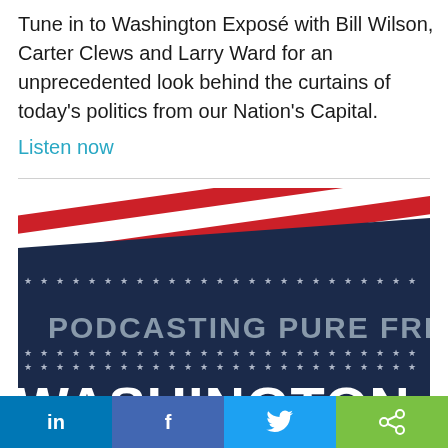Tune in to Washington Exposé with Bill Wilson, Carter Clews and Larry Ward for an unprecedented look behind the curtains of today's politics from our Nation's Capital.
Listen now
[Figure (photo): Washington Exposé podcast banner with red, white, and navy American flag design, text 'PODCASTING PURE FREEDOM' and 'WASHINGTON EXPOSÉ' in large bold white letters on dark navy background with stars]
in  f  (twitter bird)  (share icon)